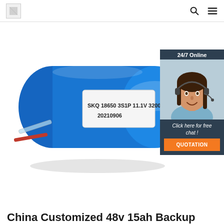[logo] [search icon] [menu icon]
[Figure (photo): A blue cylindrical lithium battery pack labeled SKQ 18650 3S1P 11.1V 3200mAh, dated 20210906, with two metal tabs extending from one end. Overlaid in the top-right corner is a customer service chat widget showing a woman with a headset, text '24/7 Online', 'Click here for free chat!', and an orange QUOTATION button.]
China Customized 48v 15ah Backup